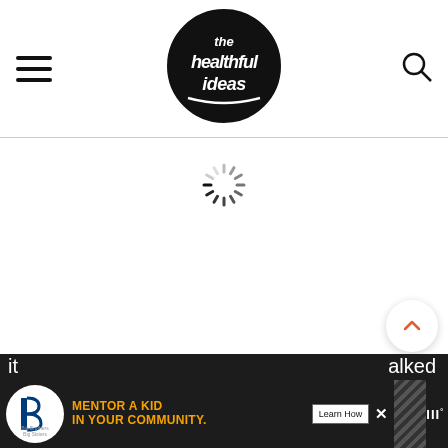[Figure (logo): The Healthful Ideas logo — black circle with white handwritten text]
[Figure (illustration): Loading spinner / activity indicator]
[Figure (illustration): Scroll-to-top chevron button (white circle, orange chevron)]
[Figure (illustration): Heart/save button (blue circle, white heart)]
1
[Figure (illustration): Share button (white circle, share icon with plus)]
tex
[Figure (screenshot): Ad banner: Big Brothers Big Sisters — MENTOR A KID IN YOUR COMMUNITY. Learn How button. Dark background with orange text.]